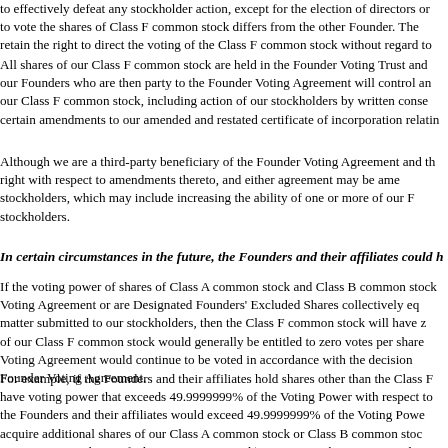to effectively defeat any stockholder action, except for the election of directors or to vote the shares of Class F common stock differs from the other Founder. The retain the right to direct the voting of the Class F common stock without regard to
All shares of our Class F common stock are held in the Founder Voting Trust and our Founders who are then party to the Founder Voting Agreement will control an our Class F common stock, including action of our stockholders by written conse certain amendments to our amended and restated certificate of incorporation relatin
Although we are a third-party beneficiary of the Founder Voting Agreement and th right with respect to amendments thereto, and either agreement may be ame stockholders, which may include increasing the ability of one or more of our F stockholders.
In certain circumstances in the future, the Founders and their affiliates could h
If the voting power of shares of Class A common stock and Class B common stock Voting Agreement or are Designated Founders' Excluded Shares collectively eq matter submitted to our stockholders, then the Class F common stock will have z of our Class F common stock would generally be entitled to zero votes per share Voting Agreement would continue to be voted in accordance with the decision Founder Voting Agreement.
For example, if the Founders and their affiliates hold shares other than the Class F have voting power that exceeds 49.9999999% of the Voting Power with respect to the Founders and their affiliates would exceed 49.9999999% of the Voting Powe acquire additional shares of our Class A common stock or Class B common stoc converting into shares of Class A common stock) to, among others, our Founders could increase the total voting power of the Founders and their affiliates above 49